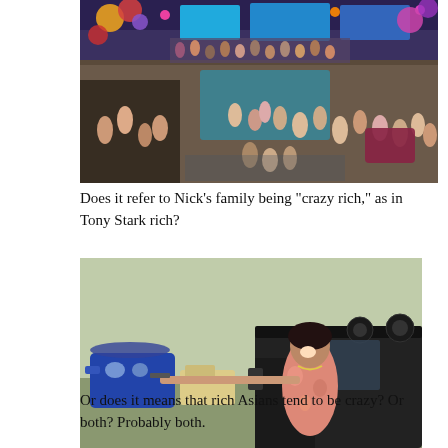[Figure (photo): A large indoor party scene with many people dancing and celebrating in a multi-level venue with colorful lights and screens.]
Does it refer to Nick's family being "crazy rich," as in Tony Stark rich?
[Figure (photo): A person leaning out of a large SUV vehicle with a helicopter and open land visible in the background, wearing a floral shirt.]
Or does it means that rich Asians tend to be crazy? Or both? Probably both.